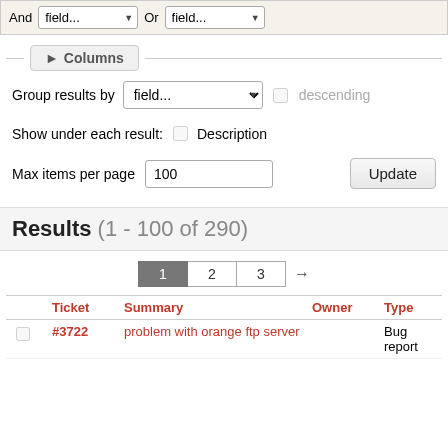And field... Or field...
▶ Columns
Group results by field... descending
Show under each result: □ Description
Max items per page 100
Results (1 - 100 of 290)
1 2 3 →
|  | Ticket | Summary | Owner | Type |
| --- | --- | --- | --- | --- |
| □ | #3722 | problem with orange ftp server |  | Bug report |